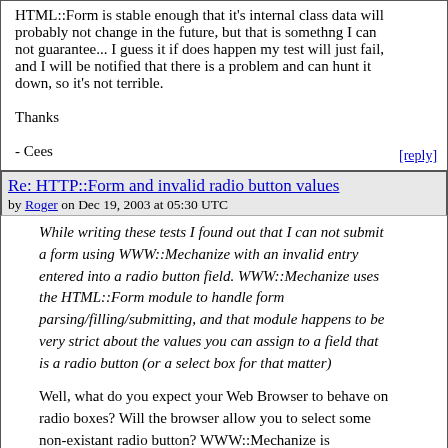HTML::Form is stable enough that it's internal class data will probably not change in the future, but that is somethng I can not guarantee... I guess it if does happen my test will just fail, and I will be notified that there is a problem and can hunt it down, so it's not terrible.

Thanks

- Cees
[reply]
Re: HTTP::Form and invalid radio button values
by Roger on Dec 19, 2003 at 05:30 UTC
While writing these tests I found out that I can not submit a form using WWW::Mechanize with an invalid entry entered into a radio button field. WWW::Mechanize uses the HTML::Form module to handle form parsing/filling/submitting, and that module happens to be very strict about the values you can assign to a field that is a radio button (or a select box for that matter)
Well, what do you expect your Web Browser to behave on radio boxes? Will the browser allow you to select some non-existant radio button? WWW::Mechanize is